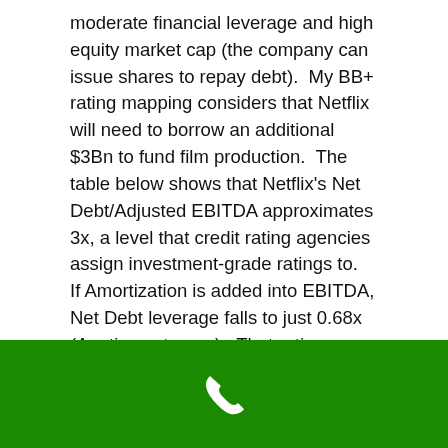moderate financial leverage and high equity market cap (the company can issue shares to repay debt).  My BB+ rating mapping considers that Netflix will need to borrow an additional $3Bn to fund film production.  The table below shows that Netflix's Net Debt/Adjusted EBITDA approximates 3x, a level that credit rating agencies assign investment-grade ratings to.  If Amortization is added into EBITDA, Net Debt leverage falls to just 0.68x (A rating category).  That rating would then have to be notched down based on the company's negative cash flow and Content Obligations.  About $8.6Bn are due this year (listed on the balance sheet) with the remainder 3-5 years (Off-Balance Sheet).  Management has not provided detail on these contracts or how flexible they are to renegotiation.
[Figure (other): Green footer bar with a white phone/call icon in the center]